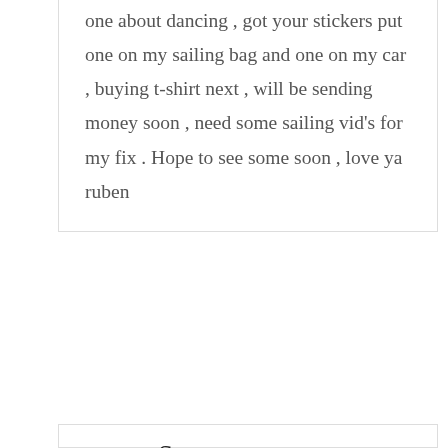one about dancing , got your stickers put one on my sailing bag and one on my car , buying t-shirt next , will be sending money soon , need some sailing vid's for my fix . Hope to see some soon , love ya ruben
Steve
NOVEMBER 21, 2015 AT 6:23 AM
Thank you for sharing this little glimpse into your history. I was curious about how you two got to where you are since I'm in a similar place, trying to figure out how to